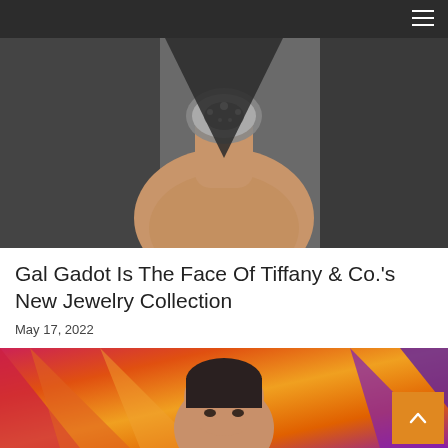[Figure (photo): Close-up photo of a woman wearing a statement necklace/jewelry piece against a dark outfit, cropped to show neck and upper chest area, black and grey tones]
Gal Gadot Is The Face Of Tiffany & Co.'s New Jewelry Collection
May 17, 2022
[Figure (photo): Photo of a woman (Gal Gadot) in front of a colorful orange, red, yellow and purple abstract background, showing her face and upper body]